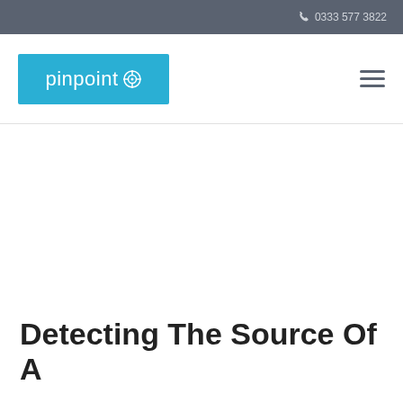0333 577 3822
[Figure (logo): Pinpoint logo — white text 'pinpoint' with crosshair/target icon on teal/blue background]
Detecting The Source Of A